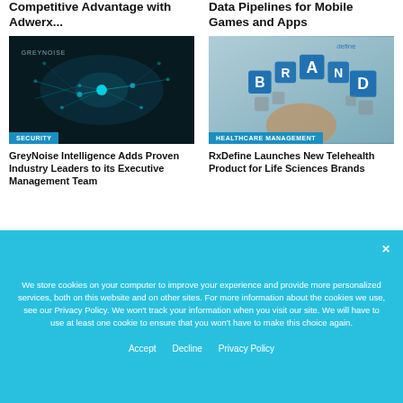Competitive Advantage with Adwerx...
Data Pipelines for Mobile Games and Apps
[Figure (photo): Dark teal cyberpunk/AI network visualization with GREYNOISE watermark]
SECURITY
GreyNoise Intelligence Adds Proven Industry Leaders to its Executive Management Team
[Figure (photo): Hand holding holographic brand letter tiles with 'define' logo in corner]
HEALTHCARE MANAGEMENT
RxDefine Launches New Telehealth Product for Life Sciences Brands
We store cookies on your computer to improve your experience and provide more personalized services, both on this website and on other sites. For more information about the cookies we use, see our Privacy Policy. We won't track your information when you visit our site. We will have to use at least one cookie to ensure that you won't have to make this choice again.
Accept
Decline
Privacy Policy